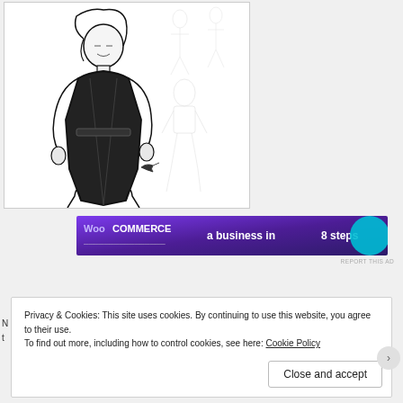[Figure (illustration): Pencil sketch illustration showing a detailed inked figure of a male warrior/soldier character in the foreground (left side), with lighter pencil sketch figures in the background (right side). The main character has long hair and is wearing tactical/military gear.]
[Figure (screenshot): WooCommerce advertisement banner with purple/dark gradient background reading 'WooCommerce' logo and 'a business in 8 steps' text, with a teal circle graphic element on the right.]
REPORT THIS AD
Privacy & Cookies: This site uses cookies. By continuing to use this website, you agree to their use.
To find out more, including how to control cookies, see here: Cookie Policy
Close and accept